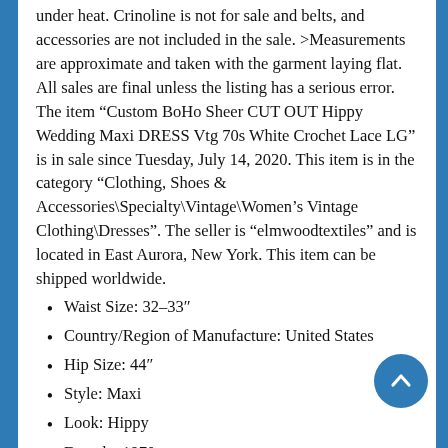under heat. Crinoline is not for sale and belts, and accessories are not included in the sale. >Measurements are approximate and taken with the garment laying flat. All sales are final unless the listing has a serious error. The item “Custom BoHo Sheer CUT OUT Hippy Wedding Maxi DRESS Vtg 70s White Crochet Lace LG” is in sale since Tuesday, July 14, 2020. This item is in the category “Clothing, Shoes & Accessories\Specialty\Vintage\Women’s Vintage Clothing\Dresses”. The seller is “elmwoodtextiles” and is located in East Aurora, New York. This item can be shipped worldwide.
Waist Size: 32–33″
Country/Region of Manufacture: United States
Hip Size: 44″
Style: Maxi
Look: Hippy
Decade: 1970s
Theme: Finer Mo...